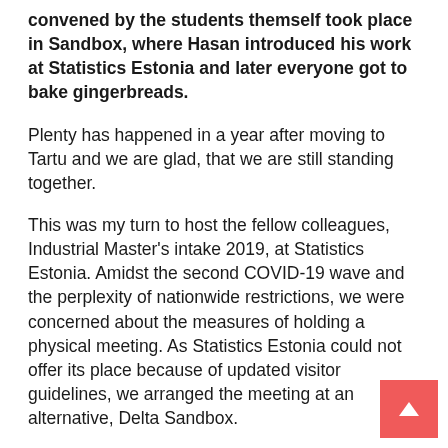convened by the students themself took place in Sandbox, where Hasan introduced his work at Statistics Estonia and later everyone got to bake gingerbreads.
Plenty has happened in a year after moving to Tartu and we are glad, that we are still standing together.
This was my turn to host the fellow colleagues, Industrial Master's intake 2019, at Statistics Estonia. Amidst the second COVID-19 wave and the perplexity of nationwide restrictions, we were concerned about the measures of holding a physical meeting. As Statistics Estonia could not offer its place because of updated visitor guidelines, we arranged the meeting at an alternative, Delta Sandbox.